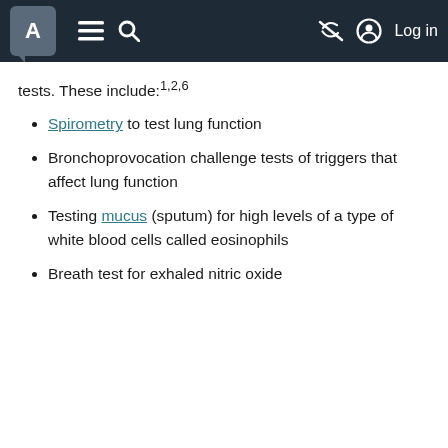A [menu icon] [search icon] [eye-slash icon] [account icon] Log in
tests. These include:1,2,6
Spirometry to test lung function
Bronchoprovocation challenge tests of triggers that affect lung function
Testing mucus (sputum) for high levels of a type of white blood cells called eosinophils
Breath test for exhaled nitric oxide